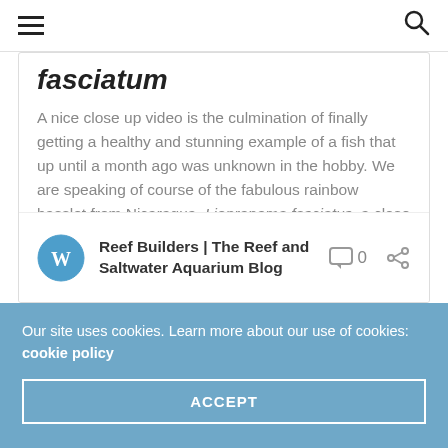≡  [search icon]
fasciatum
A nice close up video is the culmination of finally getting a healthy and stunning example of a fish that up until a month ago was unknown in the hobby. We are speaking of course of the fabulous rainbow basslet from Nicaragua, Liopropoma fasciatus, a close relative of some of the most sought after basslets such as …
Continue reading
Reef Builders | The Reef and Saltwater Aquarium Blog
Our site uses cookies. Learn more about our use of cookies: cookie policy
ACCEPT